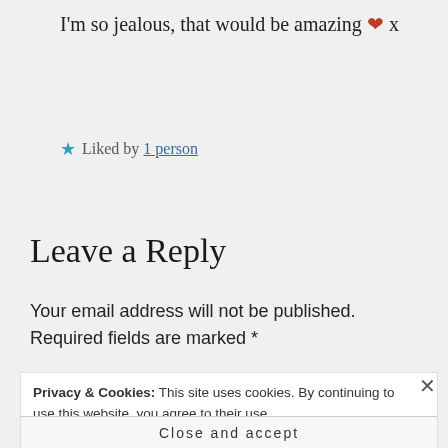I'm so jealous, that would be amazing ❤ x
★ Liked by 1 person
Leave a Reply
Your email address will not be published. Required fields are marked *
Privacy & Cookies: This site uses cookies. By continuing to use this website, you agree to their use. To find out more, including how to control cookies, see here: Cookie Policy
Close and accept